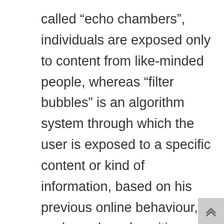called “echo chambers”, individuals are exposed only to content from like-minded people, whereas “filter bubbles” is an algorithm system through which the user is exposed to a specific content or kind of information, based on his previous online behaviour, such as shared position, online research, online shopping activities or visited website. The aim is isolating users from contents which clash with their points of view, creating a real cultural and ideological “bubble” which isolates the individual from the other culturally and ideologically different “bubbles”.